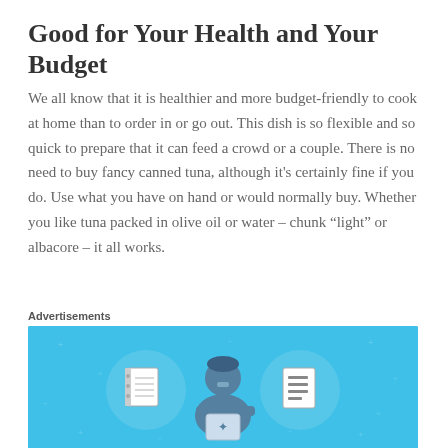Good for Your Health and Your Budget
We all know that it is healthier and more budget-friendly to cook at home than to order in or go out. This dish is so flexible and so quick to prepare that it can feed a crowd or a couple. There is no need to buy fancy canned tuna, although it's certainly fine if you do. Use what you have on hand or would normally buy. Whether you like tuna packed in olive oil or water – chunk “light” or albacore – it all works.
Advertisements
[Figure (illustration): Advertisement banner with a light blue background showing a cartoon person holding a tablet/phone, flanked by two circular icons — one containing a notebook/notepad and one containing a list/document, with small star/sparkle decorations scattered around the background.]